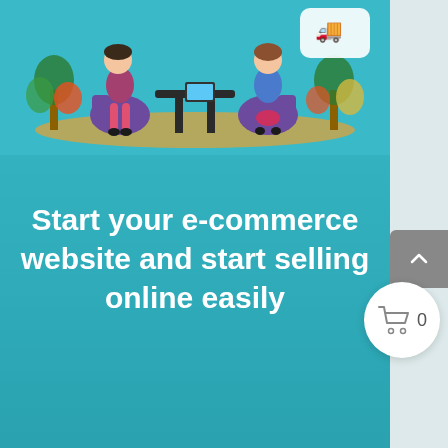[Figure (illustration): Illustrated scene of two people sitting across a table in an office/cafe setting with plants, on a teal background card with rounded bottom-right corner]
Start your e-commerce website and start selling online easily
[Figure (other): Scroll-to-top button (grey rectangle with upward chevron arrow) on right edge]
[Figure (other): Shopping cart icon button (white circle with cart icon and '0' count)]